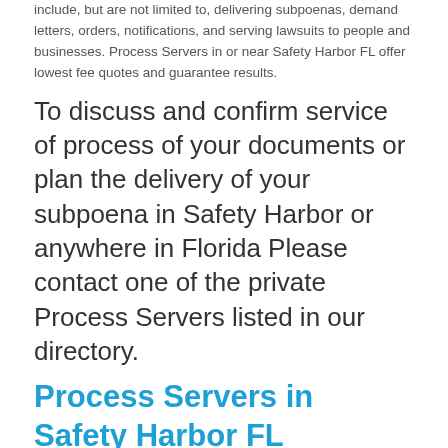include, but are not limited to, delivering subpoenas, demand letters, orders, notifications, and serving lawsuits to people and businesses. Process Servers in or near Safety Harbor FL offer lowest fee quotes and guarantee results.
To discuss and confirm service of process of your documents or plan the delivery of your subpoena in Safety Harbor or anywhere in Florida Please contact one of the private Process Servers listed in our directory.
Process Servers in Safety Harbor FL
All listed Process Servers are experienced with all types of process serving services in and near Safety Harbor. Legal document and subpoena delivery services are guaranteed to be on time anywhere in Pinellas County, Florida.